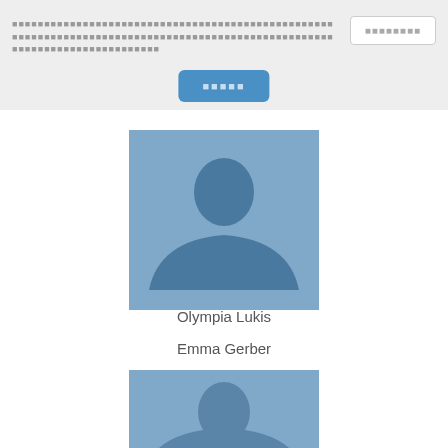■■■■■■■■■■■■■■■■■■■■■■■■■■■■■■■■■■■■■■■■■■■■■■■■■■■■■■■■■■■■■■■■■■■■■■■■■■■■■■■■■■■■
■■■■■■■■
■■■■■
[Figure (photo): Placeholder profile image with NO IMAGE text - first card for Olympia Lukis]
Olympia Lukis
Emma Gerber
[Figure (photo): Placeholder profile image - second card for Emma Gerber]